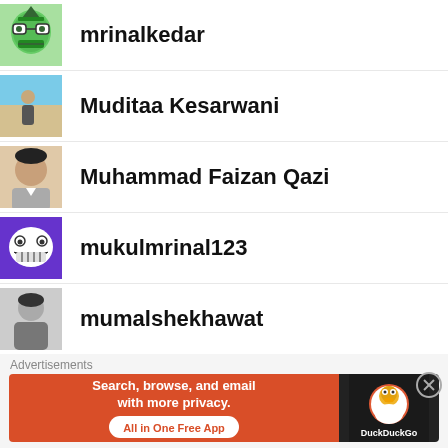mrinalkedar
Muditaa Kesarwani
Muhammad Faizan Qazi
mukulmrinal123
mumalshekhawat
muskaankaurrr
namratarathod
namrotaaroy
Advertisements
[Figure (screenshot): DuckDuckGo advertisement banner: Search, browse, and email with more privacy. All in One Free App]